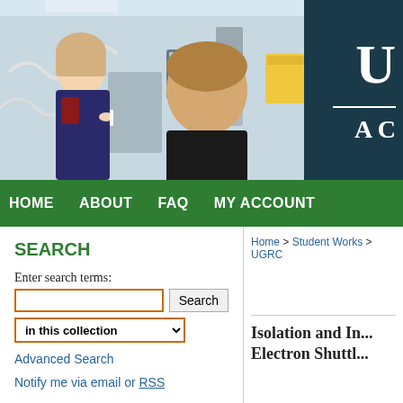[Figure (photo): Two students in a laboratory setting, a female student examining equipment and a male student looking at the camera. Dark teal overlay on the right side with white text showing U and A (partial university logo).]
HOME   ABOUT   FAQ   MY ACCOUNT
SEARCH
Enter search terms:
in this collection
Advanced Search
Notify me via email or RSS
BROWSE
Home > Student Works > UGRC
Isolation and In... Electron Shuttl...